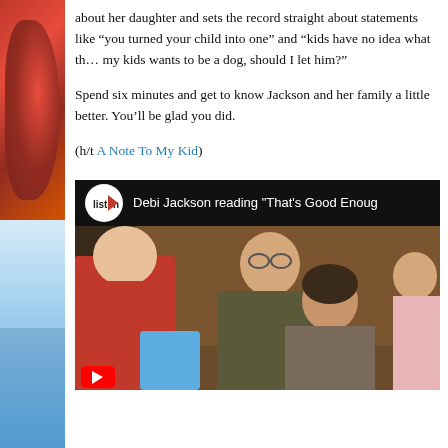about her daughter and sets the record straight about statements like "you turned your child into one" and "kids have no idea what th... my kids wants to be a dog, should I let him?"
Spend six minutes and get to know Jackson and her family a little better. You'll be glad you did.
(h/t A Note To My Kid)
[Figure (screenshot): Embedded video thumbnail showing 'listen' logo and title 'Debi Jackson reading "That's Good Enoug...' with several women seated]